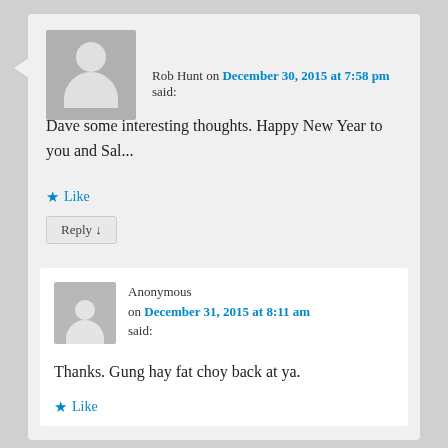Rob Hunt on December 30, 2015 at 7:58 pm said:
Dave some interesting thoughts. Happy New Year to you and Sal...
★ Like
Reply ↓
Anonymous on December 31, 2015 at 8:11 am said:
Thanks. Gung hay fat choy back at ya.
★ Like